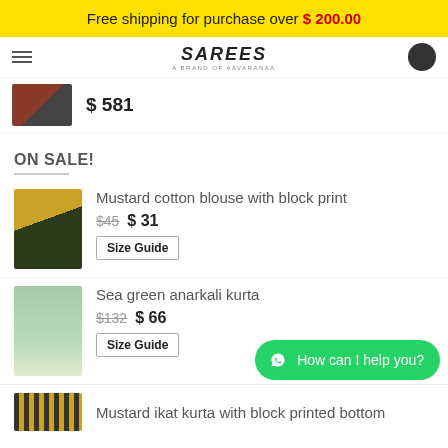Free shipping for purchase over $ 200.00
[Figure (screenshot): E-commerce site header with logo 'A BRAND OF AAVARANAA' and user avatar]
$ 581
ON SALE!
Mustard cotton blouse with block print $45 $ 31
Size Guide
Sea green anarkali kurta $132 $ 66
Size Guide
Mustard ikat kurta with block printed bottom